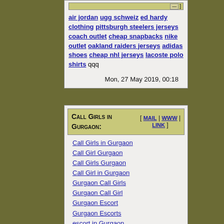air jordan ugg schweiz ed hardy clothing pittsburgh steelers jerseys coach outlet cheap snapbacks nike outlet oakland raiders jerseys adidas shoes cheap nhl jerseys lacoste polo shirts qqq
Mon, 27 May 2019, 00:18
Call Girls in Gurgaon:
Call Girls in Gurgaon
Call Girl Gurgaon
Call Girls Gurgaon
Call Girl in Gurgaon
Gurgaon Call Girls
Gurgaon Call Girl
Gurgaon Escort
Gurgaon Escorts
escort in Gurgaon
escorts in Gurgaon
escorts in Gurgaon
Call Girls in Dwarka
Call Girl Dwarka